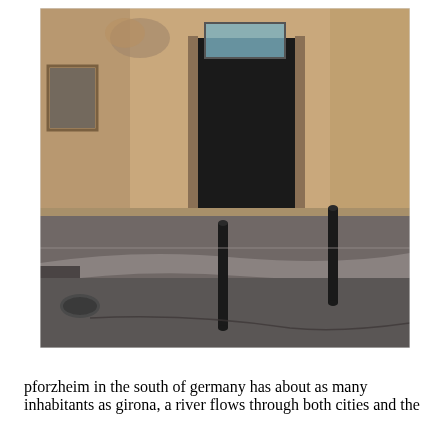[Figure (photo): Street-level photograph of a European building corner with stone/plaster facade, a large dark doorway, graffiti on the upper wall, and a curving cobblestone sidewalk with two black bollards in the foreground.]
pforzheim in the south of germany has about as many inhabitants as girona, a river flows through both cities and the